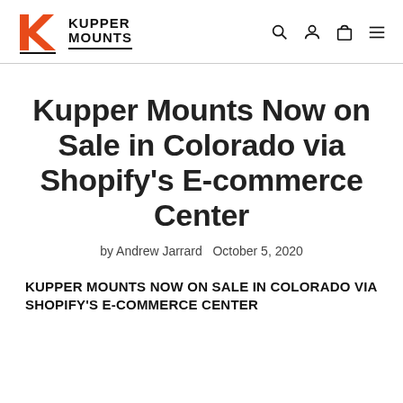Kupper Mounts [logo] [search] [account] [cart] [menu]
Kupper Mounts Now on Sale in Colorado via Shopify's E-commerce Center
by Andrew Jarrard   October 5, 2020
KUPPER MOUNTS NOW ON SALE IN COLORADO VIA SHOPIFY'S E-COMMERCE CENTER